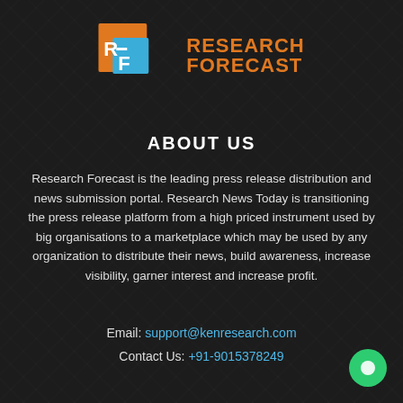[Figure (logo): Research Forecast logo with orange and blue square icon and orange bold text 'RESEARCH FORECAST']
ABOUT US
Research Forecast is the leading press release distribution and news submission portal. Research News Today is transitioning the press release platform from a high priced instrument used by big organisations to a marketplace which may be used by any organization to distribute their news, build awareness, increase visibility, garner interest and increase profit.
Email: support@kenresearch.com
Contact Us: +91-9015378249